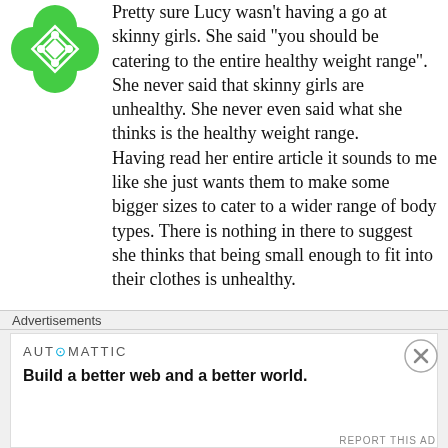[Figure (logo): Green flower-shaped avatar icon with white diamond pattern]
Pretty sure Lucy wasn't having a go at skinny girls. She said "you should be catering to the entire healthy weight range". She never said that skinny girls are unhealthy. She never even said what she thinks is the healthy weight range.
Having read her entire article it sounds to me like she just wants them to make some bigger sizes to cater to a wider range of body types. There is nothing in there to suggest she thinks that being small enough to fit into their clothes is unhealthy.

If anything you inferred that she thinks skinny people are unhealthy because of your own
Advertisements
[Figure (logo): Automattic advertisement: AUT⊙MATTIC logo with tagline Build a better web and a better world.]